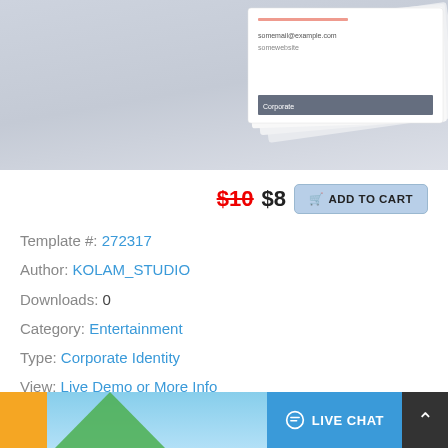[Figure (photo): Top portion of a product listing page showing a business card / corporate identity template mockup on a light gray background. Several layered cards are visible at upper right.]
$10 $8  ADD TO CART
Template #: 272317
Author: KOLAM_STUDIO
Downloads: 0
Category: Entertainment
Type: Corporate Identity
View: Live Demo or More Info
Alternate Live Demo: Click Here
[Figure (screenshot): Bottom strip showing an orange background with a palm tree and sky preview image, a blue LIVE CHAT button with speech bubble icon, and a dark scroll-to-top arrow button.]